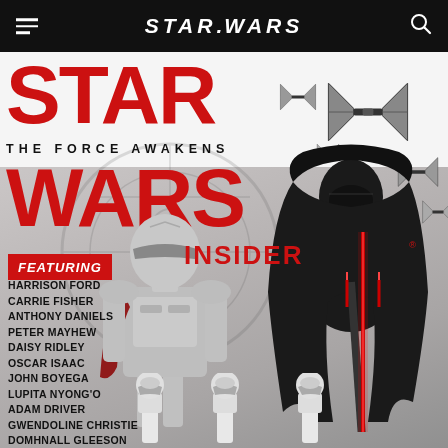STAR WARS
[Figure (illustration): Star Wars: The Force Awakens - Star Wars Insider magazine cover featuring Kylo Ren with red lightsaber, Captain Phasma in silver armor, TIE fighters in background, Death Star symbol, stormtroopers at bottom. Red and white color scheme with large STAR WARS title text.]
STAR WARS
THE FORCE AWAKENS
WARS INSIDER
FEATURING
HARRISON FORD
CARRIE FISHER
ANTHONY DANIELS
PETER MAYHEW
DAISY RIDLEY
OSCAR ISAAC
JOHN BOYEGA
LUPITA NYONG'O
ADAM DRIVER
GWENDOLINE CHRISTIE
DOMHNALL GLEESON
J.J. ABRAMS
AND MORE!